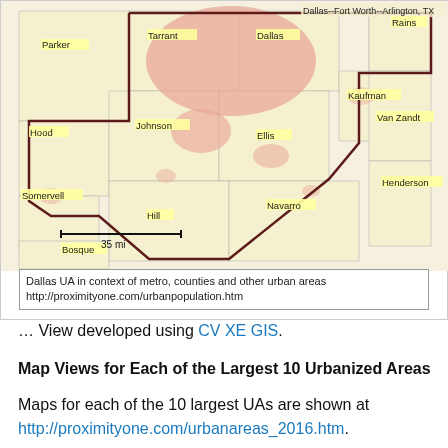[Figure (map): Map showing Dallas UA in context of metro, counties and other urban areas. Shows Dallas--Fort Worth--Arlington TX metropolitan area boundary in bold brown line. Counties labeled include Parker, Tarrant, Dallas, Rains, Hood, Johnson, Ellis, Kaufman, Van Zandt, Somervell, Navarro, Henderson, Hill, Bosque. Urban areas shown in salmon/pink color fill. Scale bar showing 35 mi at bottom left.]
Dallas UA in context of metro, counties and other urban areas
http://proximityone.com/urbanpopulation.htm
… View developed using CV XE GIS.
Map Views for Each of the Largest 10 Urbanized Areas
Maps for each of the 10 largest UAs are shown at http://proximityone.com/urbanareas_2016.htm.
Each graphic shows the designated urbanized area in a darker salmon color fill pattern, associated metropolitan statistical area with bold brown boundary, and other urban